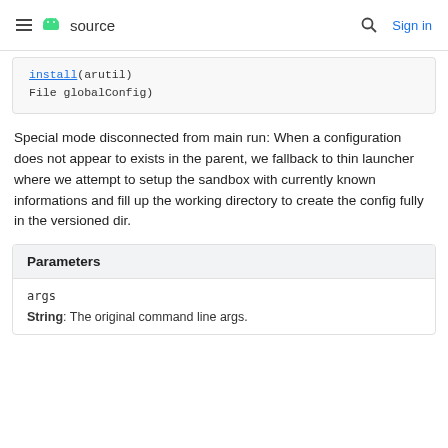source  Sign in
install(arutil)
File globalConfig)
Special mode disconnected from main run: When a configuration does not appear to exists in the parent, we fallback to thin launcher where we attempt to setup the sandbox with currently known informations and fill up the working directory to create the config fully in the versioned dir.
| Parameters |
| --- |
| args | String: The original command line args. |